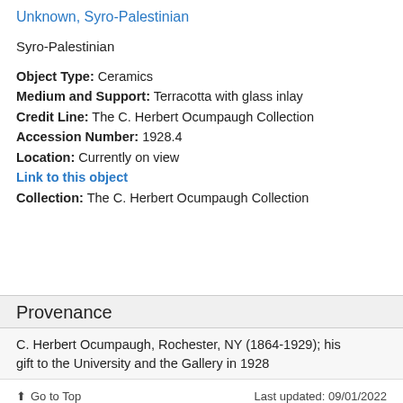Unknown, Syro-Palestinian
Syro-Palestinian
Object Type: Ceramics
Medium and Support: Terracotta with glass inlay
Credit Line: The C. Herbert Ocumpaugh Collection
Accession Number: 1928.4
Location: Currently on view
Link to this object
Collection: The C. Herbert Ocumpaugh Collection
Provenance
C. Herbert Ocumpaugh, Rochester, NY (1864-1929); his gift to the University and the Gallery in 1928
Go to Top   Last updated: 09/01/2022